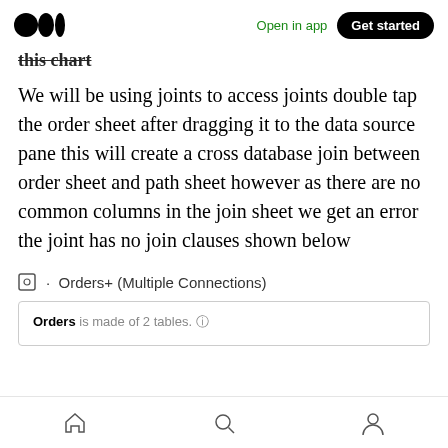Open in app  Get started
this chart
We will be using joints to access joints double tap the order sheet after dragging it to the data source pane this will create a cross database join between order sheet and path sheet however as there are no common columns in the join sheet we get an error the joint has no join clauses shown below
Orders+ (Multiple Connections)
Orders is made of 2 tables.
Home  Search  Profile